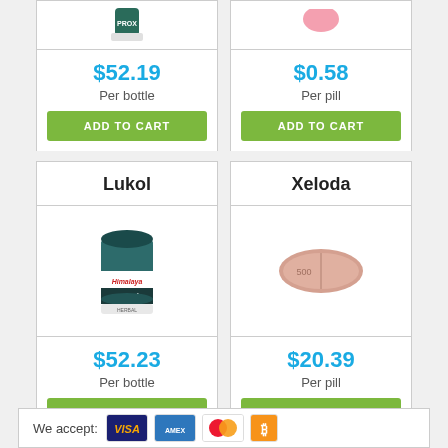[Figure (photo): Partial top of product card showing green bottle (Prox) cropped at top]
$52.19
Per bottle
ADD TO CART
[Figure (photo): Partial top of product card showing pink pill cropped at top]
$0.58
Per pill
ADD TO CART
Lukol
[Figure (photo): Himalaya Lukol bottle - dark green jar with label]
$52.23
Per bottle
ADD TO CART
Xeloda
[Figure (photo): Xeloda oval pink pill tablet]
$20.39
Per pill
ADD TO CART
We accept:
[Figure (logo): Payment icons: Visa, American Express, Mastercard, Bitcoin]